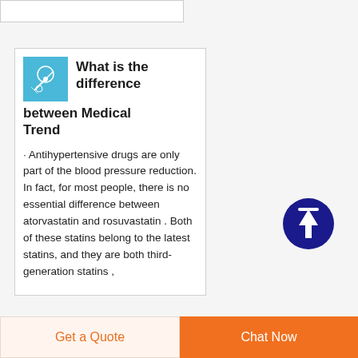What is the difference between Medical Trend
Antihypertensive drugs are only part of the blood pressure reduction. In fact, for most people, there is no essential difference between atorvastatin and rosuvastatin . Both of these statins belong to the latest statins, and they are both third-generation statins ,
[Figure (illustration): Blue circular scroll-to-top button with white upward arrow]
Get a Quote
Chat Now